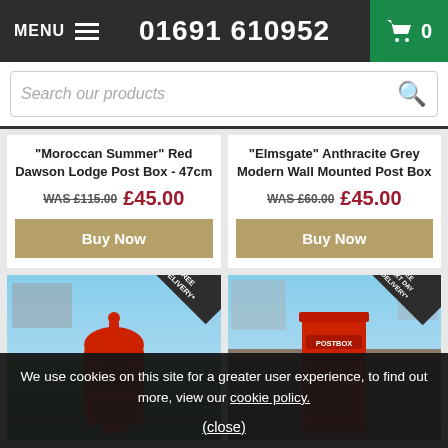MENU  01691 610952  0
Search our products
"Moroccan Summer" Red Dawson Lodge Post Box - 47cm
WAS £115.00  £45.00
Buy Now
"Elmsgate" Anthracite Grey Modern Wall Mounted Post Box
WAS £60.00  £45.00
Buy Now
[Figure (photo): Red ornate Victorian-style cast iron post box outdoors with house in background, FREE DELIVERY corner ribbon]
[Figure (photo): Red square modern post box with POSTBOX label, outdoors with house in background, FREE NEXT DAY DELIVERY corner ribbon]
We use cookies on this site for a greater user experience, to find out more, view our cookie policy.
(close)